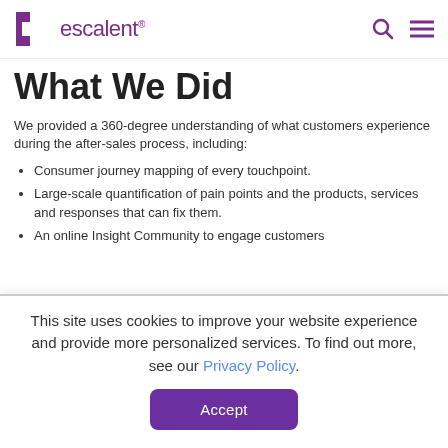escalent
What We Did
We provided a 360-degree understanding of what customers experience during the after-sales process, including:
Consumer journey mapping of every touchpoint.
Large-scale quantification of pain points and the products, services and responses that can fix them.
An online Insight Community to engage customers
This site uses cookies to improve your website experience and provide more personalized services. To find out more, see our Privacy Policy.